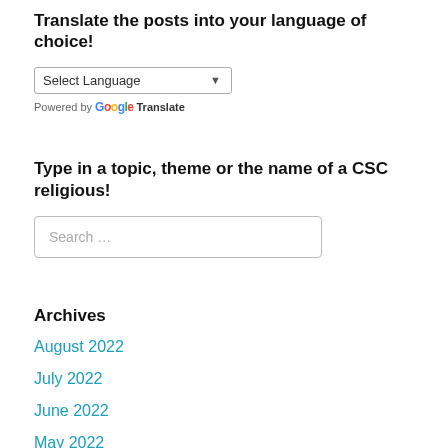Translate the posts into your language of choice!
[Figure (screenshot): A dropdown select box labeled 'Select Language' with a downward arrow, and below it 'Powered by Google Translate' text with Google logo colors.]
Type in a topic, theme or the name of a CSC religious!
[Figure (screenshot): A search input box with placeholder text 'Search ...']
Archives
August 2022
July 2022
June 2022
May 2022